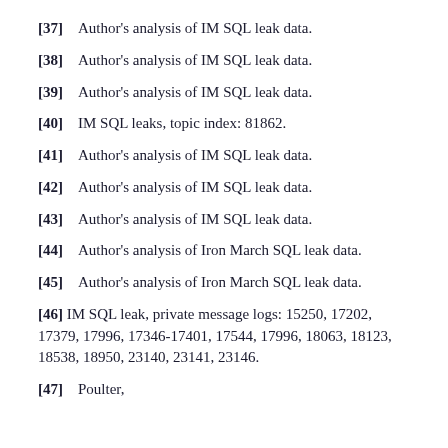[37] Author's analysis of IM SQL leak data.
[38] Author's analysis of IM SQL leak data.
[39] Author's analysis of IM SQL leak data.
[40] IM SQL leaks, topic index: 81862.
[41] Author's analysis of IM SQL leak data.
[42] Author's analysis of IM SQL leak data.
[43] Author's analysis of IM SQL leak data.
[44] Author's analysis of Iron March SQL leak data.
[45] Author's analysis of Iron March SQL leak data.
[46] IM SQL leak, private message logs: 15250, 17202, 17379, 17996, 17346-17401, 17544, 17996, 18063, 18123, 18538, 18950, 23140, 23141, 23146.
[47] Poulter,